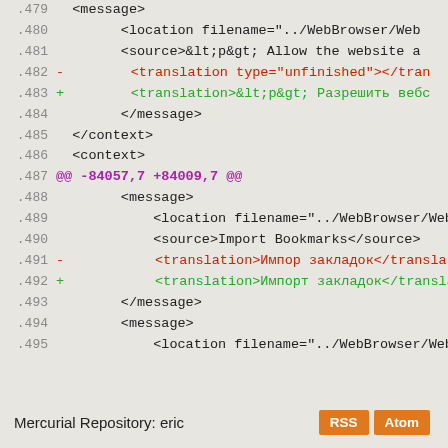.479  <message>
.480          <location filename="../WebBrowser/Web
.481          <source>&lt;p&gt; Allow the website a
.482  -       <translation type="unfinished"></tran
.483  +       <translation>&lt;p&gt; Разрешить вебс
.484          </message>
.485  </context>
.486  <context>
.487  @@ -84057,7 +84009,7 @@
.488          <message>
.489              <location filename="../WebBrowser/Web
.490              <source>Import Bookmarks</source>
.491  -           <translation>Импор закладок</translat
.492  +           <translation>Импорт закладок</transla
.493          </message>
.494          <message>
.495              <location filename="../WebBrowser/Web
Mercurial Repository: eric